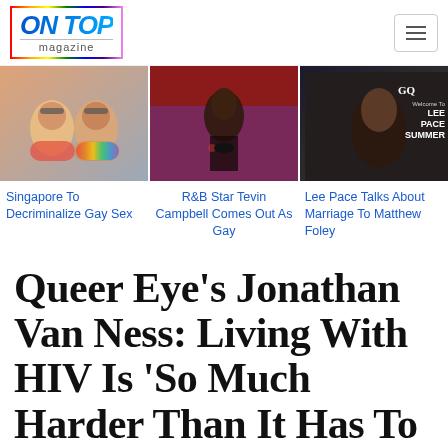ON TOP magazine
[Figure (photo): Three news thumbnail images: two people wearing masks (one rainbow mask), a man in formal wear on stage, and a man with long curly hair on a magazine cover]
Singapore To Decriminalize Gay Sex
R&B Star Tevin Campbell Comes Out As Gay
Lee Pace Talks About Marriage To Matthew Foley
Queer Eye's Jonathan Van Ness: Living With HIV Is 'So Much Harder Than It Has To Be'